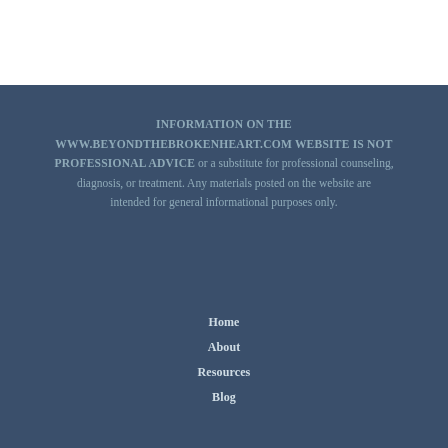INFORMATION ON THE WWW.BEYONDTHEBROKENHEART.COM WEBSITE IS NOT PROFESSIONAL ADVICE or a substitute for professional counseling, diagnosis, or treatment. Any materials posted on the website are intended for general informational purposes only.
Home
About
Resources
Blog